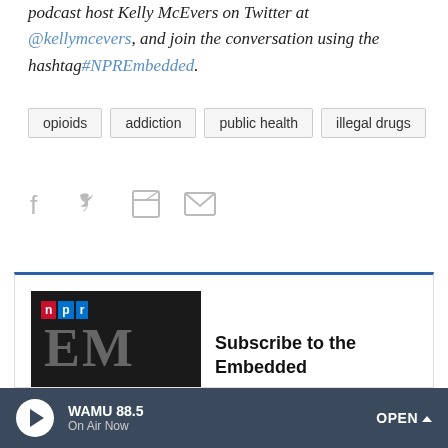podcast host Kelly McEvers on Twitter at @kellymcevers, and join the conversation using the hashtag#NPREmbedded.
opioids
addiction
public health
illegal drugs
[Figure (other): Social share icons: Facebook, Twitter, Flipboard, Email]
[Figure (screenshot): NPR Embedded podcast subscription card with NPR logo and EMBD text on dark background]
Subscribe to the Embedded
WAMU 88.5 On Air Now OPEN